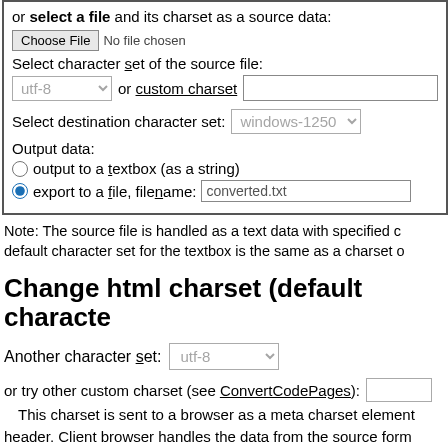or select a file and its charset as a source data:
[Figure (screenshot): File input widget: Choose File button and 'No file chosen' text]
Select character set of the source file:
[Figure (screenshot): Character set selector row: utf-8 dropdown, 'or custom charset' label, text input]
Select destination character set: windows-1250 dropdown
Output data:
output to a textbox (as a string)
export to a file, filename: converted.txt
Note: The source file is handled as a text data with specified c... default character set for the textbox is the same as a charset o...
Change html charset (default characte...
Another character set: utf-8
or try other custom charset (see ConvertCodePages):  
  This charset is sent to a browser as a meta charset element... header. Client browser handles the data from the source form... in the case of this charset) and sends the data as binary...